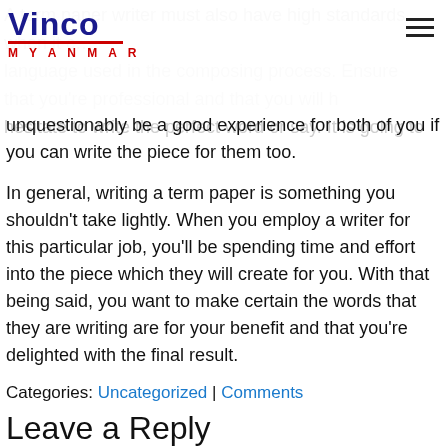[Figure (logo): Vinco Myanmar logo with red underline and red Myanmar text]
A term paper writer must also have high standards when it comes to the language used in the composing process. Ensure that you're professional and that you will hesitate to write the perfect word or say. It is going to unquestionably be a good experience for both of you if you can write the piece for them too.
In general, writing a term paper is something you shouldn't take lightly. When you employ a writer for this particular job, you'll be spending time and effort into the piece which they will create for you. With that being said, you want to make certain the words that they are writing are for your benefit and that you're delighted with the final result.
Categories: Uncategorized | Comments
Leave a Reply
Your email address will not be published. Required fields are marked *
Comment